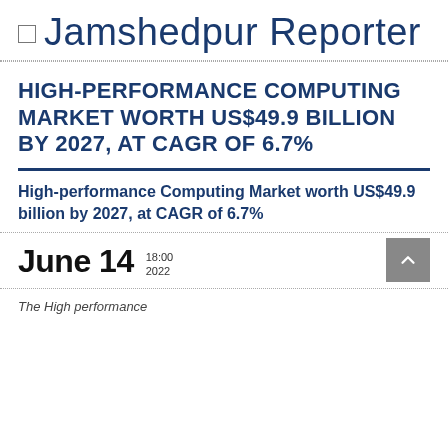Jamshedpur Reporter
HIGH-PERFORMANCE COMPUTING MARKET WORTH US$49.9 BILLION BY 2027, AT CAGR OF 6.7%
High-performance Computing Market worth US$49.9 billion by 2027, at CAGR of 6.7%
June 14  18:00  2022
The High performance